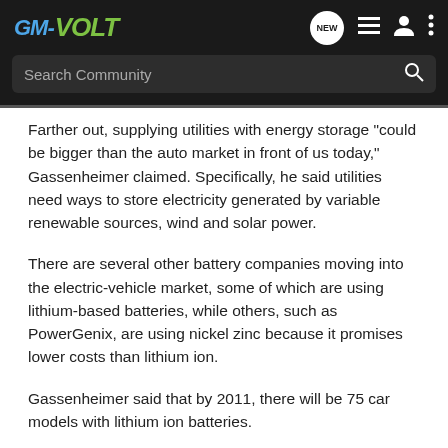[Figure (logo): GM-VOLT logo in top navigation bar with GM in blue italic and VOLT in green bold italic]
Search Community
Farther out, supplying utilities with energy storage "could be bigger than the auto market in front of us today," Gassenheimer claimed. Specifically, he said utilities need ways to store electricity generated by variable renewable sources, wind and solar power.
There are several other battery companies moving into the electric-vehicle market, some of which are using lithium-based batteries, while others, such as PowerGenix, are using nickel zinc because it promises lower costs than lithium ion.
Gassenheimer said that by 2011, there will be 75 car models with lithium ion batteries.
"It's pretty clear some real players are starting to commit real